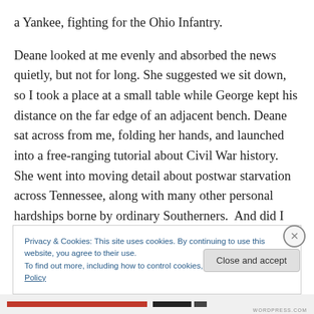a Yankee, fighting for the Ohio Infantry.
Deane looked at me evenly and absorbed the news quietly, but not for long. She suggested we sit down, so I took a place at a small table while George kept his distance on the far edge of an adjacent bench. Deane sat across from me, folding her hands, and launched into a free-ranging tutorial about Civil War history. She went into moving detail about postwar starvation across Tennessee, along with many other personal hardships borne by ordinary Southerners.  And did I realize George
Privacy & Cookies: This site uses cookies. By continuing to use this website, you agree to their use.
To find out more, including how to control cookies, see here: Cookie Policy